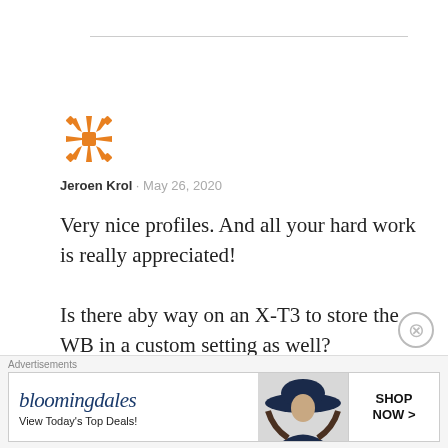[Figure (illustration): Orange decorative avatar/logo icon with snowflake-like geometric pattern]
Jeroen Krol · May 26, 2020
Very nice profiles. And all your hard work is really appreciated!
Is there aby way on an X-T3 to store the WB in a custom setting as well?
If not, how do you apply the WB shift for different custom settings? Memorize them?
[Figure (infographic): Bloomingdale's advertisement banner: logo text, tagline 'View Today's Top Deals!', model photo with hat, 'SHOP NOW >' button]